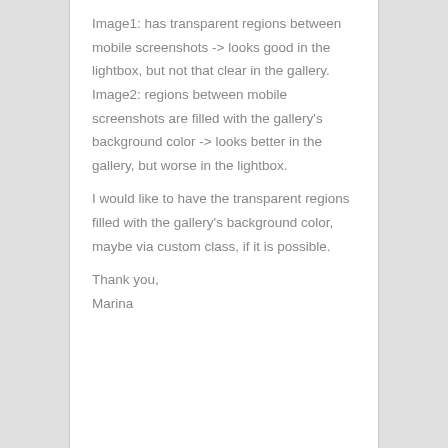Image1: has transparent regions between mobile screenshots -> looks good in the lightbox, but not that clear in the gallery. Image2: regions between mobile screenshots are filled with the gallery's background color -> looks better in the gallery, but worse in the lightbox.
I would like to have the transparent regions filled with the gallery's background color, maybe via custom class, if it is possible.
Thank you,
Marina